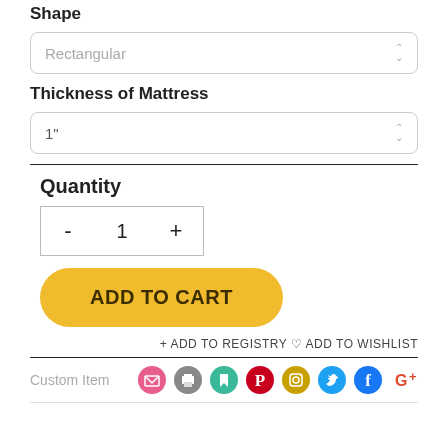Shape
Rectangular
Thickness of Mattress
1"
Quantity
- 1 +
ADD TO CART
+ ADD TO REGISTRY ♡ ADD TO WISHLIST
Custom Item